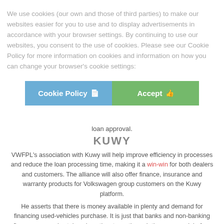We use cookies (our own and those of third parties) to make our websites easier for you to use and to display advertisements in accordance with your browser settings. By continuing to use our websites, you consent to the use of cookies. Please see our Cookie Policy for more information on cookies and information on how you can change your browser's cookie settings:
[Figure (other): Two buttons: 'Cookie Policy' (blue) and 'Accept' (green) for cookie consent overlay]
loan approval.
[Figure (logo): Kuwy logo text watermark in gray]
VWFPL's association with Kuwy will help improve efficiency in processes and reduce the loan processing time, making it a win-win for both dealers and customers. The alliance will also offer finance, insurance and warranty products for Volkswagen group customers on the Kuwy platform.
He asserts that there is money available in plenty and demand for financing used-vehicles purchase. It is just that banks and non-banking finance companies take a long time to go through the paperwork before they can even tell a prospective borrower whether she or he is